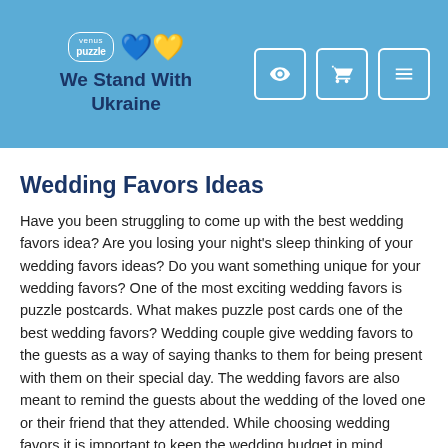We Stand With Ukraine
Wedding Favors Ideas
Have you been struggling to come up with the best wedding favors idea? Are you losing your night's sleep thinking of your wedding favors ideas? Do you want something unique for your wedding favors? One of the most exciting wedding favors is puzzle postcards. What makes puzzle post cards one of the best wedding favors? Wedding couple give wedding favors to the guests as a way of saying thanks to them for being present with them on their special day. The wedding favors are also meant to remind the guests about the wedding of the loved one or their friend that they attended. While choosing wedding favors it is important to keep the wedding budget in mind. Choosing expensive wedding favors can make the budget shoot up. At the same time wedding couple cannot run away from this expense. The best approach here would be to choose wedding favors that are not too expensive. Puzzle postcards of the wedding